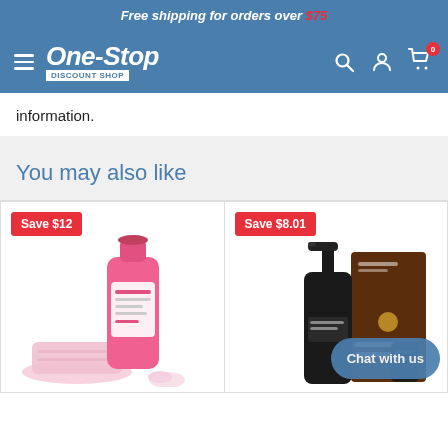Free shipping for orders over $75
[Figure (logo): One-Stop Discount Shop logo with hamburger menu, search, account, and cart icons on blue navigation bar]
information.
You may also like
[Figure (photo): Product card with Save $12 badge and pink cleaning bottle product image]
[Figure (photo): Product card with Save $8.01 badge and dark lotion bottle product image with CLEAN LOTION text]
Chat with us